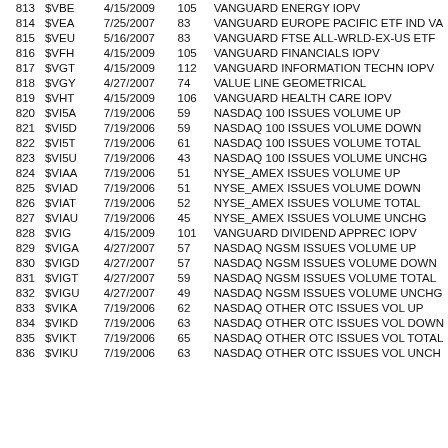| # | Symbol | Date | Num | Description |
| --- | --- | --- | --- | --- |
| 813 | $VBE | 4/15/2009 | 105 | VANGUARD ENERGY IOPV |
| 814 | $VEA | 7/25/2007 | 83 | VANGUARD EUROPE PACIFIC ETF IND VA |
| 815 | $VEU | 5/16/2007 | 83 | VANGUARD FTSE ALL-WRLD-EX-US ETF |
| 816 | $VFH | 4/15/2009 | 105 | VANGUARD FINANCIALS IOPV |
| 817 | $VGT | 4/15/2009 | 112 | VANGUARD INFORMATION TECHN IOPV |
| 818 | $VGY | 4/27/2007 | 74 | VALUE LINE GEOMETRICAL |
| 819 | $VHT | 4/15/2009 | 106 | VANGUARD HEALTH CARE IOPV |
| 820 | $VI5A | 7/19/2006 | 59 | NASDAQ 100 ISSUES VOLUME UP |
| 821 | $VI5D | 7/19/2006 | 59 | NASDAQ 100 ISSUES VOLUME DOWN |
| 822 | $VI5T | 7/19/2006 | 61 | NASDAQ 100 ISSUES VOLUME TOTAL |
| 823 | $VI5U | 7/19/2006 | 43 | NASDAQ 100 ISSUES VOLUME UNCHG |
| 824 | $VIAA | 7/19/2006 | 51 | NYSE_AMEX ISSUES VOLUME UP |
| 825 | $VIAD | 7/19/2006 | 51 | NYSE_AMEX ISSUES VOLUME DOWN |
| 826 | $VIAT | 7/19/2006 | 52 | NYSE_AMEX ISSUES VOLUME TOTAL |
| 827 | $VIAU | 7/19/2006 | 45 | NYSE_AMEX ISSUES VOLUME UNCHG |
| 828 | $VIG | 4/15/2009 | 101 | VANGUARD DIVIDEND APPREC IOPV |
| 829 | $VIGA | 4/27/2007 | 57 | NASDAQ NGSM ISSUES VOLUME UP |
| 830 | $VIGD | 4/27/2007 | 57 | NASDAQ NGSM ISSUES VOLUME DOWN |
| 831 | $VIGT | 4/27/2007 | 59 | NASDAQ NGSM ISSUES VOLUME TOTAL |
| 832 | $VIGU | 4/27/2007 | 49 | NASDAQ NGSM ISSUES VOLUME UNCHG |
| 833 | $VIKA | 7/19/2006 | 62 | NASDAQ OTHER OTC ISSUES VOL UP |
| 834 | $VIKD | 7/19/2006 | 63 | NASDAQ OTHER OTC ISSUES VOL DOWN |
| 835 | $VIKT | 7/19/2006 | 65 | NASDAQ OTHER OTC ISSUES VOL TOTAL |
| 836 | $VIKU | 7/19/2006 | 63 | NASDAQ OTHER OTC ISSUES VOL UNCH |